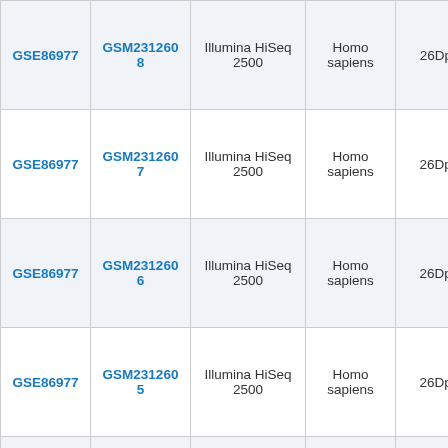| GSE86977 | GSM2312608 | Illumina HiSeq 2500 | Homo sapiens | 26Dp1a_A1 |
| GSE86977 | GSM2312607 | Illumina HiSeq 2500 | Homo sapiens | 26Dp1a_D0 |
| GSE86977 | GSM2312606 | Illumina HiSeq 2500 | Homo sapiens | 26Dp1a_D1 |
| GSE86977 | GSM2312605 | Illumina HiSeq 2500 | Homo sapiens | 26Dp1a_C1 |
|  |  |  |  |  |